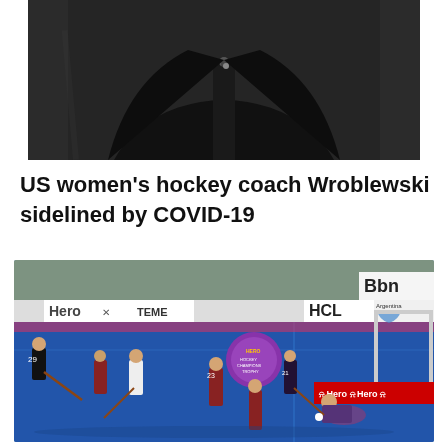[Figure (photo): Person in black jacket/coat, upper body shot against dark background]
US women's hockey coach Wroblewski sidelined by COVID-19
[Figure (photo): Field hockey game in progress on blue turf with Hero Champions Trophy branding visible on boards, players in dark and maroon kits, goalkeeper on ground, Argentina sponsor visible]